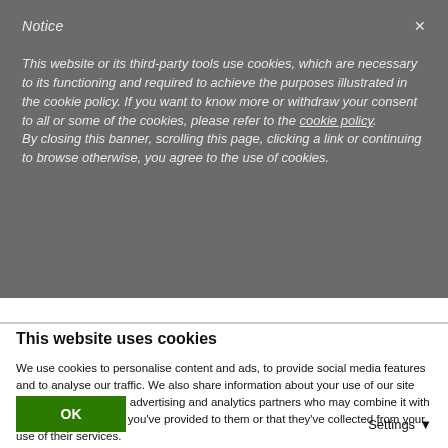Notice
This website or its third-party tools use cookies, which are necessary to its functioning and required to achieve the purposes illustrated in the cookie policy. If you want to know more or withdraw your consent to all or some of the cookies, please refer to the cookie policy. By closing this banner, scrolling this page, clicking a link or continuing to browse otherwise, you agree to the use of cookies.
provided to them or that they've collected from your use of their services.
This website uses cookies
We use cookies to personalise content and ads, to provide social media features and to analyse our traffic. We also share information about your use of our site with our social media, advertising and analytics partners who may combine it with other information that you've provided to them or that they've collected from your use of their services.
OK
Settings